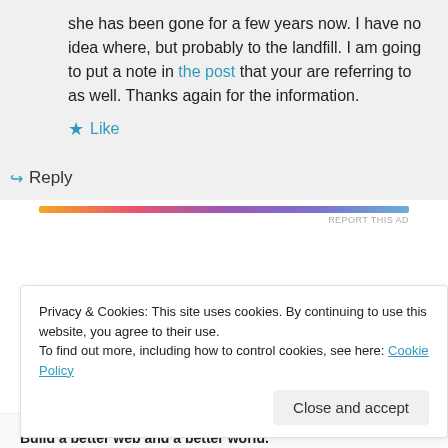she has been gone for a few years now. I have no idea where, but probably to the landfill. I am going to put a note in the post that your are referring to as well. Thanks again for the information.
★ Like
↪ Reply
[Figure (infographic): Horizontal gradient ad bar in orange to purple colors with 'REPORT THIS AD' text below]
Privacy & Cookies: This site uses cookies. By continuing to use this website, you agree to their use. To find out more, including how to control cookies, see here: Cookie Policy
Close and accept
AUTOMATTIC
Build a better web and a better world.